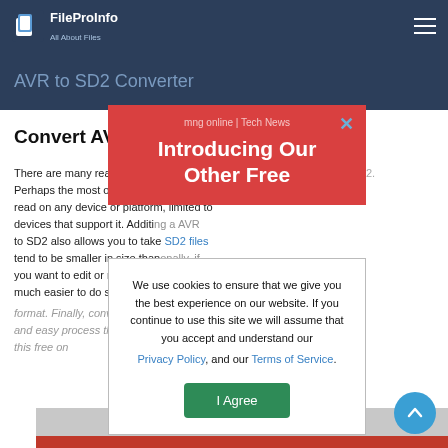FileProInfo All About Files
AVR to SD2 Converter
Convert AVR to SD2 Online for Free
There are many reasons why you might want to convert a AVR file to SD2. Perhaps the most obvious benefit is that SD2 can be read on any device or platform, while AVR is limited to devices that support it. Additionally, converting a AVR to SD2 also allows you to take advantage of SD2 files tend to be smaller in size than AVR files. Additionally, if you want to edit or manipulate the file, it can be much easier to do so in SD2 format than it is in AVR format. Finally, converting to SD2 format provides a quick and easy process that you can do free using this free online conversion tool.
[Figure (screenshot): Red promotional banner popup with text 'mng online | Tech News' and 'Introducing Our Other Free' with a close X button in blue]
We use cookies to ensure that we give you the best experience on our website. If you continue to use this site we will assume that you accept and understand our Privacy Policy, and our Terms of Service.
I Agree